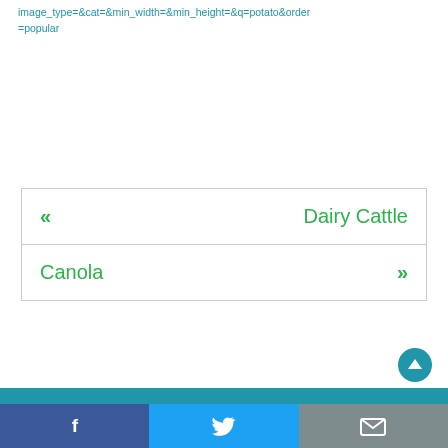image_type=&cat=&min_width=&min_height=&q=potato&order=popular
« Dairy Cattle
Canola »
[Figure (other): Social share bar with Facebook, Twitter, and email buttons at the bottom of the page]